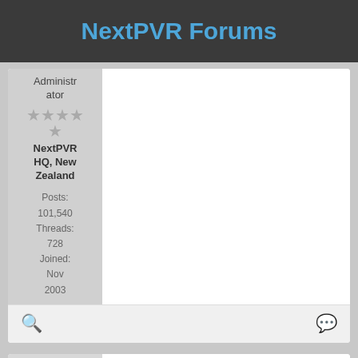NextPVR Forums
Administrator
★★★★★
NextPVR HQ, New Zealand
Posts: 101,540
Threads: 728
Joined: Nov 2003
psycik
2011-07-16, 02:35 AM
#4